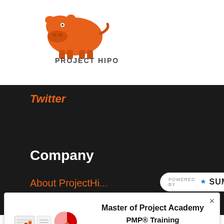[Figure (logo): Project Hipo logo — orange hippopotamus silhouette above text reading PROJECT HIPO in dark gray]
Twitter
Company
About ProjectHi...
[Figure (logo): Powered by SUMO badge — white pill-shaped badge with blue crown icon and SUMO text]
[Figure (illustration): Advertisement illustration showing a cartoon figure in red suit at a desk with charts and presentation materials]
Master of Project Academy
PMP® Training
Starts from $87/month
99.6% First-Attempt Pass Rate
View PMP® Course
*Sponsored Ad